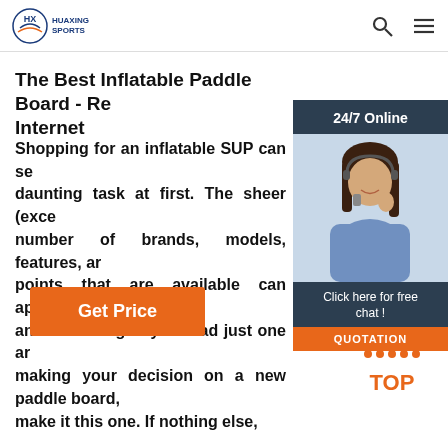HUAXING SPORTS
[Figure (photo): Customer service representative woman with headset, 24/7 Online chat widget overlay on right side with dark navy background, orange QUOTATION button]
The Best Inflatable Paddle Board - Re... Internet
Shopping for an inflatable SUP can se... daunting task at first. The sheer (exce... number of brands, models, features, ar... points that are available can appear b... and confusing. If you read just one ar... making your decision on a new paddle board, make it this one. If nothing else,
[Figure (illustration): Orange Get Price button]
[Figure (illustration): Orange TOP back-to-top button with arrow icon]